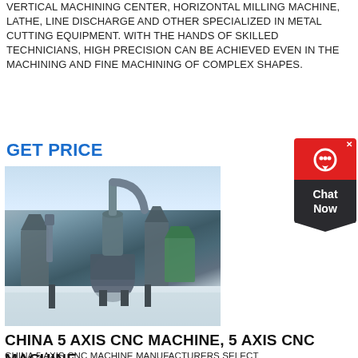VERTICAL MACHINING CENTER, HORIZONTAL MILLING MACHINE, LATHE, LINE DISCHARGE AND OTHER SPECIALIZED IN METAL CUTTING EQUIPMENT. WITH THE HANDS OF SKILLED TECHNICIANS, HIGH PRECISION CAN BE ACHIEVED EVEN IN THE MACHINING AND FINE MACHINING OF COMPLEX SHAPES.
GET PRICE
[Figure (photo): Industrial milling/grinding machinery installation outdoors in a snowy setting, showing large metal equipment with pipes, hoppers, and dust collectors against a pale sky background.]
CHINA 5 AXIS CNC MACHINE, 5 AXIS CNC MACHINE
CHINA 5 AXIS CNC MACHINE MANUFACTURERS SELECT